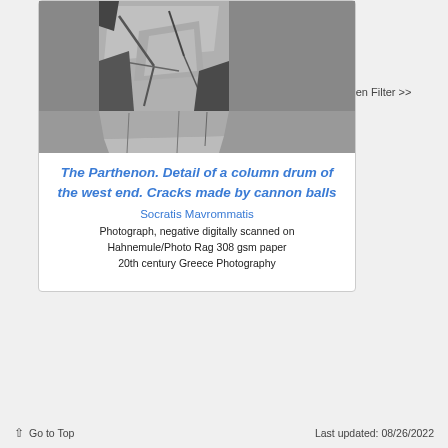[Figure (photo): Black and white photograph of cracked stone column drum at the Parthenon, showing cracks made by cannon balls]
The Parthenon. Detail of a column drum of the west end. Cracks made by cannon balls
Socratis Mavrommatis
Photograph, negative digitally scanned on Hahnemule/Photo Rag 308 gsm paper
20th century Greece Photography
≡ Open Filter >>
↑ Go to Top     Last updated: 08/26/2022